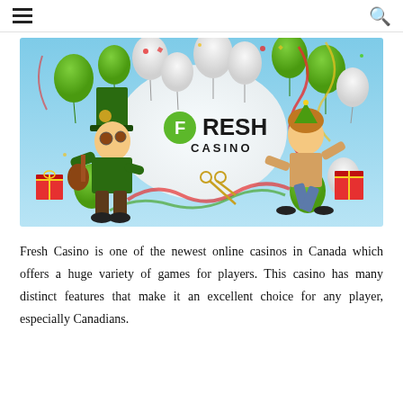≡  🔍
[Figure (illustration): Fresh Casino promotional banner featuring a leprechaun character with a guitar, a kid character, balloons in green, white, and red, confetti, gift boxes, and the Fresh Casino logo in the center on a light blue background.]
Fresh Casino is one of the newest online casinos in Canada which offers a huge variety of games for players. This casino has many distinct features that make it an excellent choice for any player, especially Canadians.